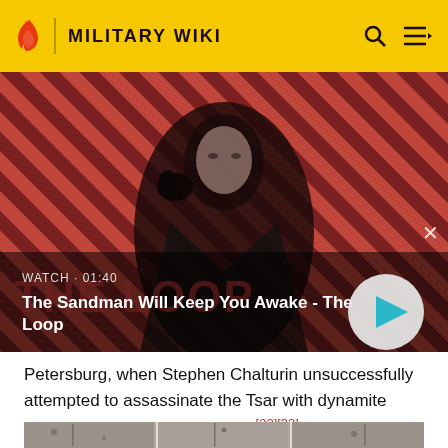MILITARY WIKI
[Figure (screenshot): Video thumbnail showing a dark-cloaked figure with a raven on shoulder against red-and-black diagonal striped background. Text overlay: WATCH · 01:40 / The Sandman Will Keep You Awake - The Loop. Circular play button on the right.]
Petersburg, when Stephen Chalturin unsuccessfully attempted to assassinate the Tsar with dynamite beneath the great dining room.[32][33]
[Figure (photo): Black and white historical photograph, partially visible at bottom of page.]